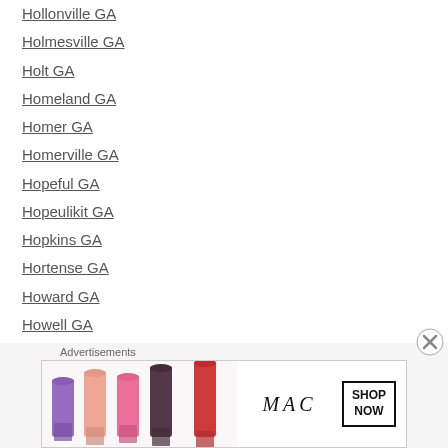Hollonville GA
Holmesville GA
Holt GA
Homeland GA
Homer GA
Homerville GA
Hopeful GA
Hopeulikit GA
Hopkins GA
Hortense GA
Howard GA
Howell GA
Hulett GA
Ideal GA
Ila GA
Imlac GA
[Figure (photo): MAC Cosmetics advertisement banner showing lipsticks with SHOP NOW button]